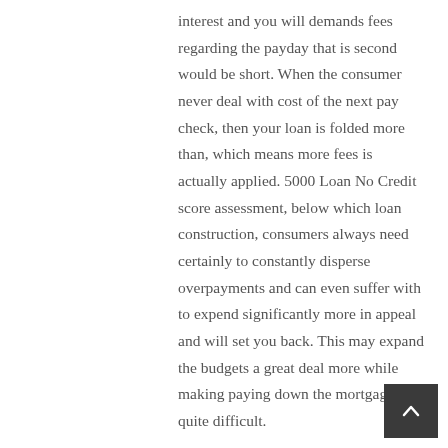interest and you will demands fees regarding the payday that is second would be short. When the consumer never deal with cost of the next pay check, then your loan is folded more than, which means more fees is actually applied. 5000 Loan No Credit score assessment, below which loan construction, consumers always need certainly to constantly disperse overpayments and can even suffer with to expend significantly more in appeal and will set you back. This may expand the budgets a great deal more while making paying down the mortgage quite difficult.

A payment mortgage is fairly some. The loan was approved over a longer time and you may